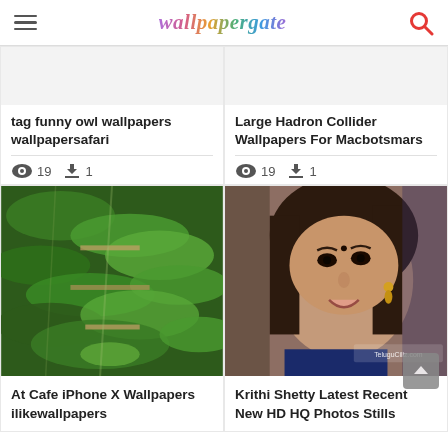wallpapergate
tag funny owl wallpapers wallpapersafari
👁 19  ⬇ 1
Large Hadron Collider Wallpapers For Macbotsmars
👁 19  ⬇ 1
[Figure (photo): Tropical plant/tree house cafe interior with lush green leaves and wooden shelves]
At Cafe iPhone X Wallpapers ilikewallpapers
[Figure (photo): Close-up portrait of a smiling young Indian woman with earrings, TeluguCiliz.com watermark]
Krithi Shetty Latest Recent New HD HQ Photos Stills